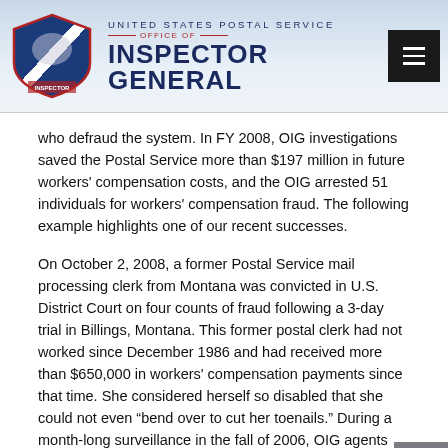UNITED STATES POSTAL SERVICE OFFICE OF INSPECTOR GENERAL
who defraud the system. In FY 2008, OIG investigations saved the Postal Service more than $197 million in future workers' compensation costs, and the OIG arrested 51 individuals for workers' compensation fraud. The following example highlights one of our recent successes.
On October 2, 2008, a former Postal Service mail processing clerk from Montana was convicted in U.S. District Court on four counts of fraud following a 3-day trial in Billings, Montana. This former postal clerk had not worked since December 1986 and had received more than $650,000 in workers' compensation payments since that time. She considered herself so disabled that she could not even "bend over to cut her toenails." During a month-long surveillance in the fall of 2006, OIG agents saw a much more active woman as they videotaped her using a chain saw and wood splitter, unloading 10-